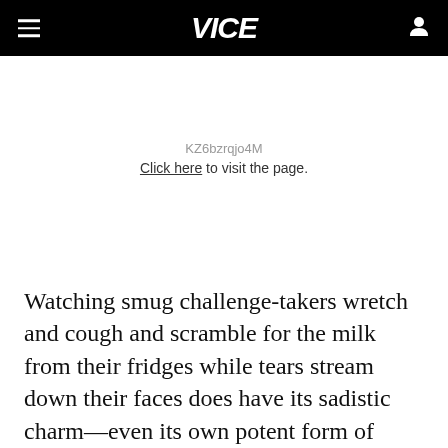VICE
KZ6bzrqjo4M
Click here to visit the page.
Watching smug challenge-takers wretch and cough and scramble for the milk from their fridges while tears stream down their faces does have its sadistic charm—even its own potent form of hilarity, like watching a Looney